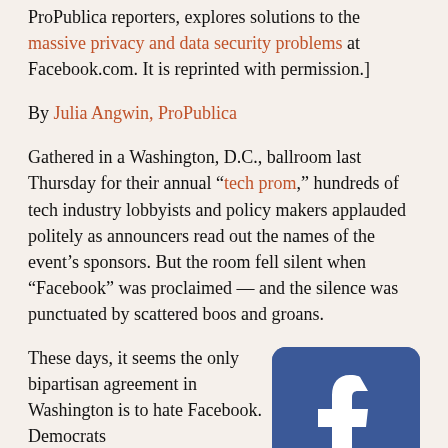ProPublica reporters, explores solutions to the massive privacy and data security problems at Facebook.com. It is reprinted with permission.]
By Julia Angwin, ProPublica
Gathered in a Washington, D.C., ballroom last Thursday for their annual “tech prom,” hundreds of tech industry lobbyists and policy makers applauded politely as announcers read out the names of the event’s sponsors. But the room fell silent when “Facebook” was proclaimed — and the silence was punctuated by scattered boos and groans.
These days, it seems the only bipartisan agreement in Washington is to hate Facebook. Democrats
[Figure (logo): Facebook logo icon — blue rounded square with white lowercase 'f' lettermark]